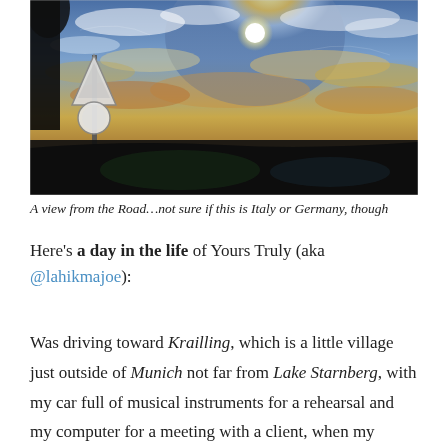[Figure (photo): A view from inside a car looking out through the windshield at a dramatic sky with the sun shining through clouds, a road sign visible on the left side, taken while driving.]
A view from the Road…not sure if this is Italy or Germany, though
Here's a day in the life of Yours Truly (aka @lahikmajoe):
Was driving toward Krailling, which is a little village just outside of Munich not far from Lake Starnberg, with my car full of musical instruments for a rehearsal and my computer for a meeting with a client, when my